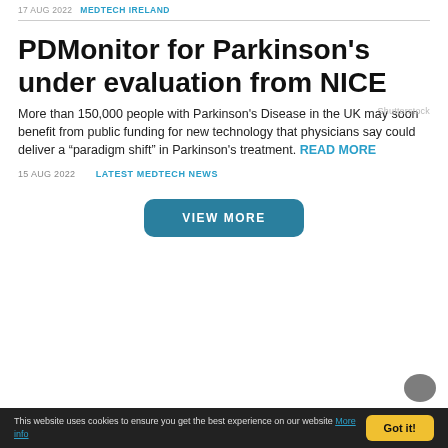17 AUG 2022   MEDTECH IRELAND
PDMonitor for Parkinson's under evaluation from NICE
More than 150,000 people with Parkinson's Disease in the UK may soon benefit from public funding for new technology that physicians say could deliver a “paradigm shift” in Parkinson's treatment. READ MORE
Shutterstock
15 AUG 2022   LATEST MEDTECH NEWS
VIEW MORE
This website uses cookies to ensure you get the best experience on our website More info
Got it!